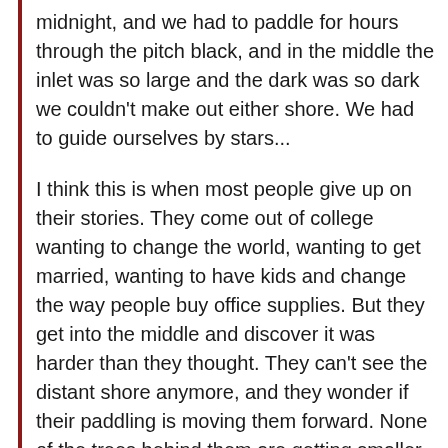midnight, and we had to paddle for hours through the pitch black, and in the middle the inlet was so large and the dark was so dark we couldn't make out either shore. We had to guide ourselves by stars...
I think this is when most people give up on their stories. They come out of college wanting to change the world, wanting to get married, wanting to have kids and change the way people buy office supplies. But they get into the middle and discover it was harder than they thought. They can't see the distant shore anymore, and they wonder if their paddling is moving them forward. None of the trees behind them are getting smaller and none of the trees ahead are getting bigger. They take it out on their spouses and they go looking for an easier story...